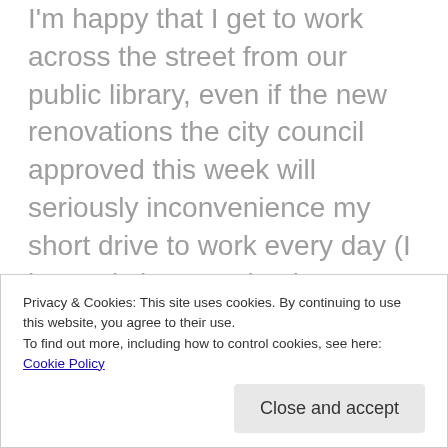I'm happy that I get to work across the street from our public library, even if the new renovations the city council approved this week will seriously inconvenience my short drive to work every day (I honestly have no business complaining about my commute). A library offers a public space for community events and a space for citizens to learn and grow. Books are expensive; if they were only privately held, it would limit a lot of people's access to them. Nancy's touching story about how “her” public library was her refuge growing up reminded me that no matter what their size, libraries really do touch people's lives. Even the tiny library in my small town did a wonderful job of getting me to read during the summer, as well as kindling my competitive spirit.
Privacy & Cookies: This site uses cookies. By continuing to use this website, you agree to their use.
To find out more, including how to control cookies, see here: Cookie Policy
Close and accept